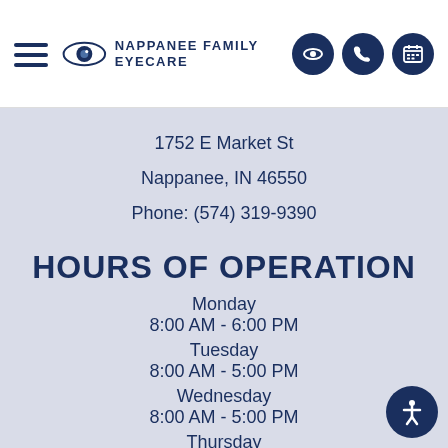Nappanee Family Eyecare
1752 E Market St
Nappanee, IN 46550
Phone: (574) 319-9390
HOURS OF OPERATION
Monday
8:00 AM - 6:00 PM
Tuesday
8:00 AM - 5:00 PM
Wednesday
8:00 AM - 5:00 PM
Thursday